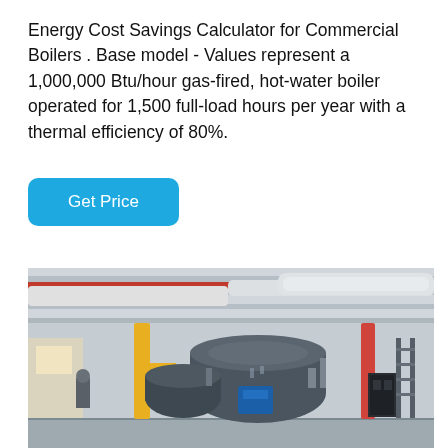Energy Cost Savings Calculator for Commercial Boilers . Base model - Values represent a 1,000,000 Btu/hour gas-fired, hot-water boiler operated for 1,500 full-load hours per year with a thermal efficiency of 80%.
[Figure (other): A blue 'Get Price' button with rounded corners on a white background]
[Figure (photo): Interior photo of a commercial boiler room showing large cylindrical gas-fired hot-water boilers, yellow and red piping, metal ductwork on ceiling, and industrial equipment]